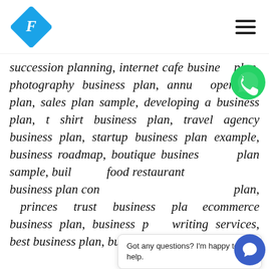F logo and navigation menu
succession planning, internet cafe business plan, photography business plan, annual operating plan, sales plan sample, developing a business plan, t shirt business plan, travel agency business plan, startup business plan example, business roadmap, boutique business plan sample, building a business plan, fast food restaurant business plan, business plan consultant, fast food business plan, princes trust business plan, ecommerce business plan, business plan writing services, best business plan, business